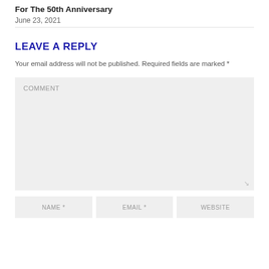For The 50th Anniversary
June 23, 2021
LEAVE A REPLY
Your email address will not be published. Required fields are marked *
COMMENT
NAME *
EMAIL *
WEBSITE